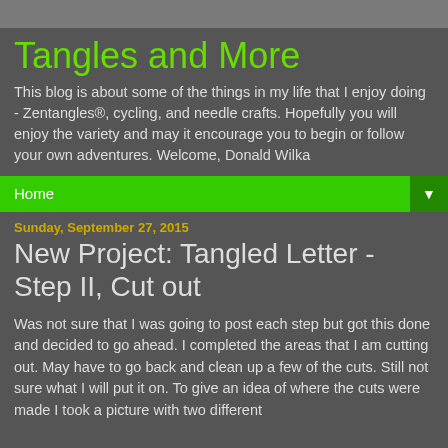Tangles and More
This blog is about some of the things in my life that I enjoy doing - Zentangles®, cycling, and needle crafts. Hopefully you will enjoy the variety and may it encourage you to begin or follow your own adventures. Welcome, Donald Wilka
Home ▼
Sunday, September 27, 2015
New Project: Tangled Letter - Step II, Cut out
Was not sure that I was going to post each step but got this done and decided to go ahead. I completed the areas that I am cutting out. May have to go back and clean up a few of the cuts. Still not sure what I will put it on. To give an idea of where the cuts were made I took a picture with two different